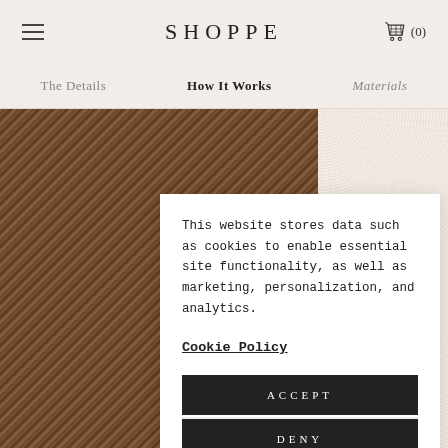SHOPPE
The Details | How It Works | Materials
[Figure (photo): Brown woven fabric texture on left, cream boucle fabric texture on right]
This website stores data such as cookies to enable essential site functionality, as well as marketing, personalization, and analytics.
Cookie Policy
ACCEPT
DENY